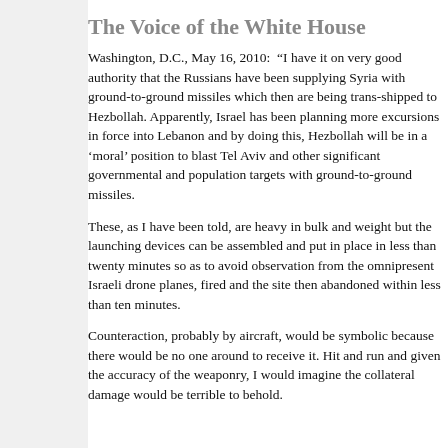The Voice of the White House
Washington, D.C., May 16, 2010:  “I have it on very good authority that the Russians have been supplying Syria with ground-to-ground missiles which then are being trans-shipped to Hezbollah. Apparently, Israel has been planning more excursions in force into Lebanon and by doing this, Hezbollah will be in a ‘moral’ position to blast Tel Aviv and other significant governmental and population targets with ground-to-ground missiles.
These, as I have been told, are heavy in bulk and weight but the launching devices can be assembled and put in place in less than twenty minutes so as to avoid observation from the omnipresent Israeli drone planes, fired and the site then abandoned within less than ten minutes.
Counteraction, probably by aircraft, would be symbolic because there would be no one around to receive it. Hit and run and given the accuracy of the weaponry, I would imagine the collateral damage would be terrible to behold.